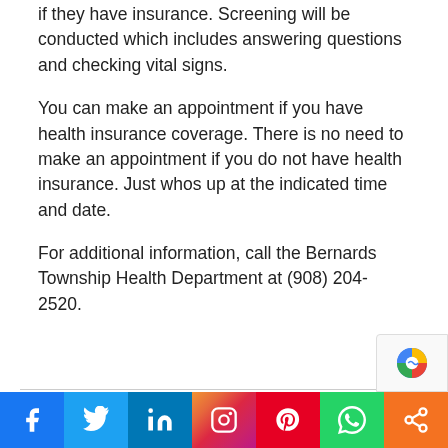if they have insurance. Screening will be conducted which includes answering questions and checking vital signs.
You can make an appointment if you have health insurance coverage. There is no need to make an appointment if you do not have health insurance. Just whos up at the indicated time and date.
For additional information, call the Bernards Township Health Department at (908) 204-2520.
Social share bar: Facebook, Twitter, LinkedIn, Instagram, Pinterest, WhatsApp, Share